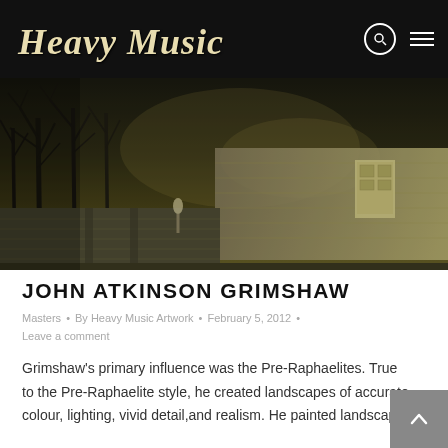Heavy Music Artwork
[Figure (photo): Dark, atmospheric painting of a cobblestone street at dusk with bare trees, a stone wall, and a lone figure in the distance — reminiscent of Victorian era nocturne paintings by John Atkinson Grimshaw.]
JOHN ATKINSON GRIMSHAW
Masters • By Heavy Music Artwork • February 5, 2012 • Leave a comment
Grimshaw's primary influence was the Pre-Raphaelites. True to the Pre-Raphaelite style, he created landscapes of accurate colour, lighting, vivid detail,and realism. He painted landscapes